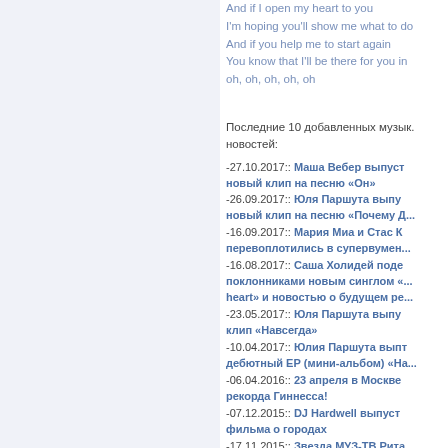And if I open my heart to you
I'm hoping you'll show me what to do
And if you help me to start again
You know that I'll be there for you in
oh, oh, oh, oh, oh
Последние 10 добавленных музык. новостей:
-27.10.2017:: Маша Вебер выпуст... новый клип на песню «Он»
-26.09.2017:: Юля Паршута выпу... новый клип на песню «Почему Д...
-16.09.2017:: Мария Миа и Стас К... перевоплотились в супервумен...
-16.08.2017:: Саша Холидей поде... поклонниками новым синглом «... heart» и новостью о будущем ре...
-23.05.2017:: Юля Паршута выпу... клип «Навсегда»
-10.04.2017:: Юлия Паршута выпт... дебютный ЕР (мини-альбом) «На...
-06.04.2016:: 23 апреля в Москве рекорда Гиннесса!
-07.12.2015:: DJ Hardwell выпуст... фильма о городах
-17.11.2015:: Звезда МУЗ-ТВ Рита... выпускает свой первый сингл «... жизнь»!
-11.09.2015:: Группа «Инфинити»... новый трек «Как тебя знать ?»